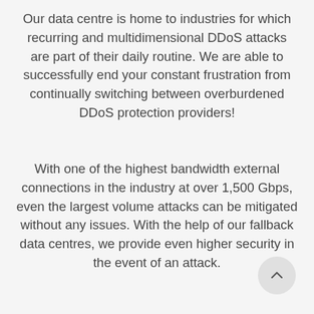Our data centre is home to industries for which recurring and multidimensional DDoS attacks are part of their daily routine. We are able to successfully end your constant frustration from continually switching between overburdened DDoS protection providers!
With one of the highest bandwidth external connections in the industry at over 1,500 Gbps, even the largest volume attacks can be mitigated without any issues. With the help of our fallback data centres, we provide even higher security in the event of an attack.